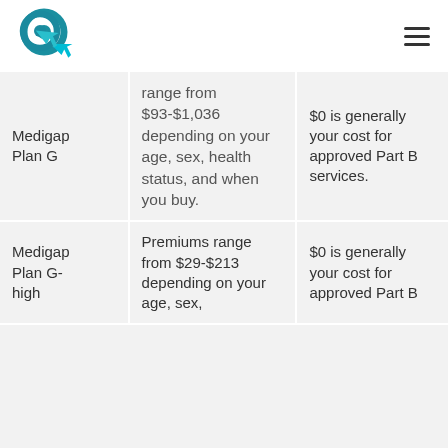Logo and navigation header
| Plan | Premium | Cost |
| --- | --- | --- |
| Medigap Plan G | range from $93-$1,036 depending on your age, sex, health status, and when you buy. | $0 is generally your cost for approved Part B services. |
| Medigap Plan G-high | Premiums range from $29-$213 depending on your age, sex, | $0 is generally your cost for approved Part B |